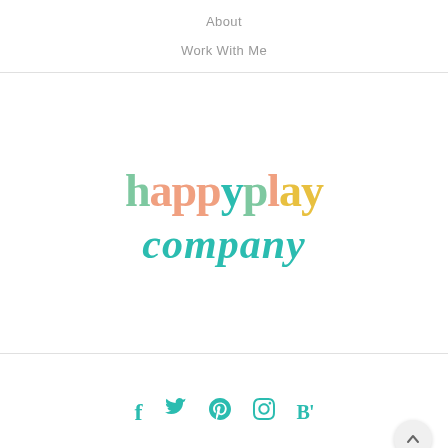About
Work With Me
[Figure (logo): happyplay company logo with multicolored letters: 'h' in sage green, 'a' in salmon/peach, 'pp' in salmon/peach, 'y' in teal, 'p' in sage green, 'l' in salmon/peach, 'a' in gold, 'y' in gold, and 'company' in teal italic script below]
Social media icons: Facebook, Twitter, Pinterest, Instagram, Bloglovin